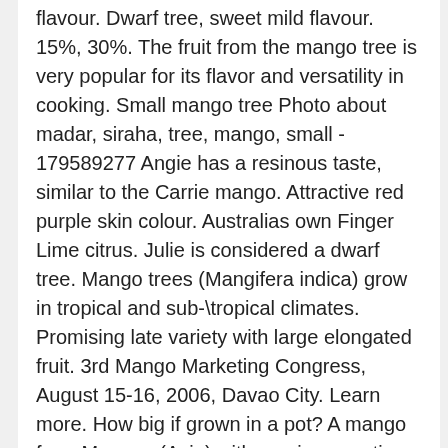flavour. Dwarf tree, sweet mild flavour. 15%, 30%. The fruit from the mango tree is very popular for its flavor and versatility in cooking. Small mango tree Photo about madar, siraha, tree, mango, small - 179589277 Angie has a resinous taste, similar to the Carrie mango. Attractive red purple skin colour. Australias own Finger Lime citrus. Julie is considered a dwarf tree. Mango trees (Mangifera indica) grow in tropical and sub-\tropical climates. Promising late variety with large elongated fruit. 3rd Mango Marketing Congress, August 15-16, 2006, Davao City. Learn more. How big if grown in a pot? A mango from Myamar (Asia) with a unique exotic flavor. [Mangoes: A Guide To Mangoes In Florida, p. 30] The eating quality was listed as "fair." Home grown from seed, plant size may vary from 7 inches and up. Order online and choose pickup 1 day before you visit us. Unfortunately at this time